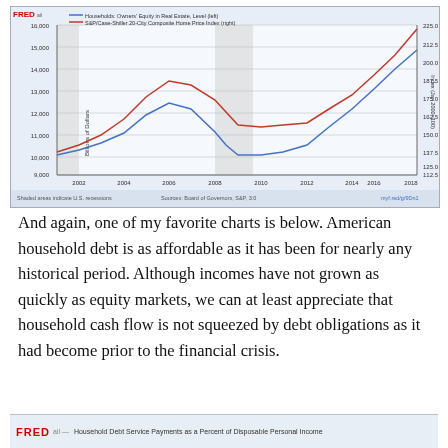[Figure (line-chart): Dual-axis FRED line chart. Blue line: Households Owners Equity in Real Estate (left axis, billions of dollars). Red line: S&P/Case-Shiller 20-City Composite Home Price Index (right axis). Both lines rise from 2002, peak around 2006-2007, drop sharply during 2008-2009 recession, then recover and rise steeply through 2018. Two shaded recession bands visible.]
And again, one of my favorite charts is below. American household debt is as affordable as it has been for nearly any historical period. Although incomes have not grown as quickly as equity markets, we can at least appreciate that household cash flow is not squeezed by debt obligations as it had become prior to the financial crisis.
[Figure (other): Bottom FRED chart header bar: FRED logo and title 'Household Debt Service Payments as a Percent of Disposable Personal Income']